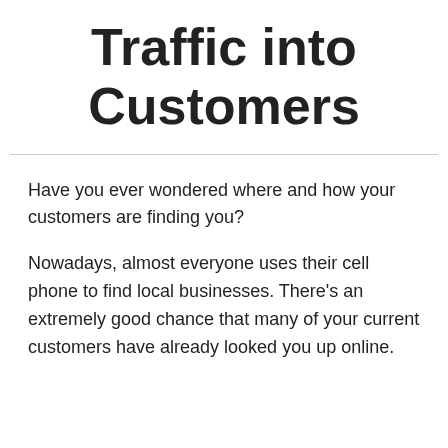Traffic into Customers
Have you ever wondered where and how your customers are finding you?
Nowadays, almost everyone uses their cell phone to find local businesses. There’s an extremely good chance that many of your current customers have already looked you up online.